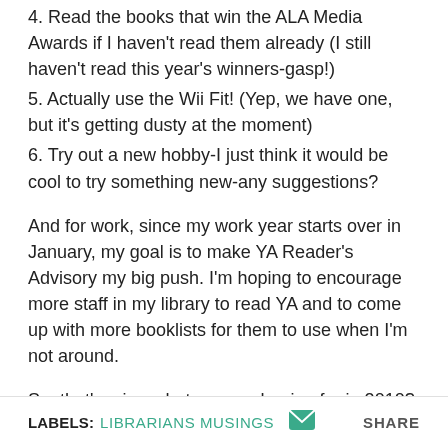4. Read the books that win the ALA Media Awards if I haven't read them already (I still haven't read this year's winners-gasp!)
5. Actually use the Wii Fit! (Yep, we have one, but it's getting dusty at the moment)
6. Try out a new hobby-I just think it would be cool to try something new-any suggestions?
And for work, since my work year starts over in January, my goal is to make YA Reader's Advisory my big push. I'm hoping to encourage more staff in my library to read YA and to come up with more booklists for them to use when I'm not around.
So, that's mine-what are you hoping for in 2010?
LABELS: LIBRARIANS MUSINGS  SHARE